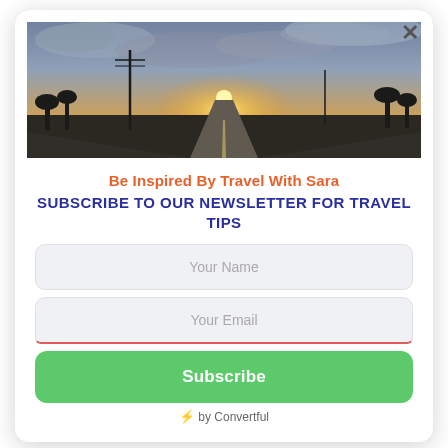experience in Ohio! My guess is
that you have never considered
[Figure (photo): Panoramic sunset photo taken from a road perspective, showing a straight highway leading toward a bright orange/yellow sunset horizon, with utility poles and trees silhouetted against a dramatic cloudy sky.]
Be Inspired By Travel With Sara
Subscribe to our Newsletter for Travel Tips
Your Name
Your Email
Subscribe
⚡ by Convertful